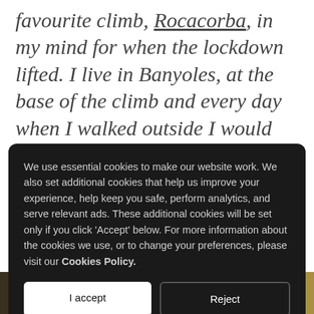favourite climb, Rocacorba, in my mind for when the lockdown lifted. I live in Banyoles, at the base of the climb and every day when I walked outside I would look to its summit and dream of reaching the top."
We use essential cookies to make our website work. We also set additional cookies that help us improve your experience, help keep you safe, perform analytics, and serve relevant ads. These additional cookies will be set only if you click 'Accept' below. For more information about the cookies we use, or to change your preferences, please visit our Cookies Policy.
[Figure (photo): Partial photo strip at the bottom of the page, showing a warm yellow/golden outdoor scene]